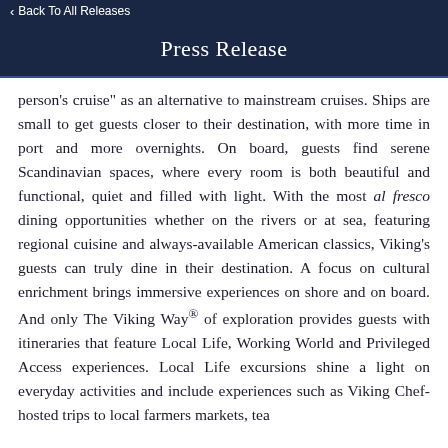< Back To All Releases
Press Release
person's cruise" as an alternative to mainstream cruises. Ships are small to get guests closer to their destination, with more time in port and more overnights. On board, guests find serene Scandinavian spaces, where every room is both beautiful and functional, quiet and filled with light. With the most al fresco dining opportunities whether on the rivers or at sea, featuring regional cuisine and always-available American classics, Viking's guests can truly dine in their destination. A focus on cultural enrichment brings immersive experiences on shore and on board. And only The Viking Way® of exploration provides guests with itineraries that feature Local Life, Working World and Privileged Access experiences. Local Life excursions shine a light on everyday activities and include experiences such as Viking Chef-hosted trips to local farmers markets, tea